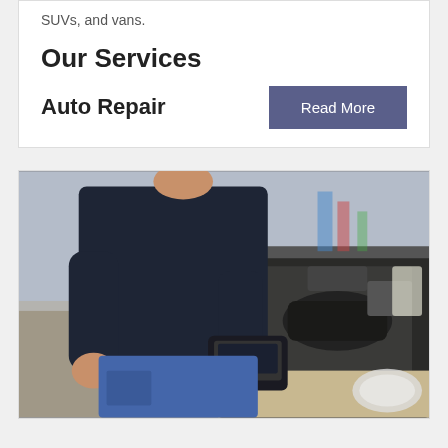SUVs, and vans.
Our Services
Auto Repair
Read More
[Figure (photo): A mechanic in a dark shirt and blue jeans holding a diagnostic scanner tool over an open car engine bay in an auto repair shop.]